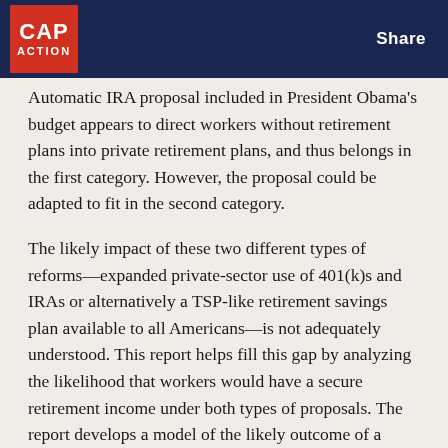CAP ACTION | Share
Automatic IRA proposal included in President Obama's budget appears to direct workers without retirement plans into private retirement plans, and thus belongs in the first category. However, the proposal could be adapted to fit in the second category.
The likely impact of these two different types of reforms—expanded private-sector use of 401(k)s and IRAs or alternatively a TSP-like retirement savings plan available to all Americans—is not adequately understood. This report helps fill this gap by analyzing the likelihood that workers would have a secure retirement income under both types of proposals. The report develops a model of the likely outcome of a worker saving in each type of plan, highlighting the importance of continuity of the coverage during a